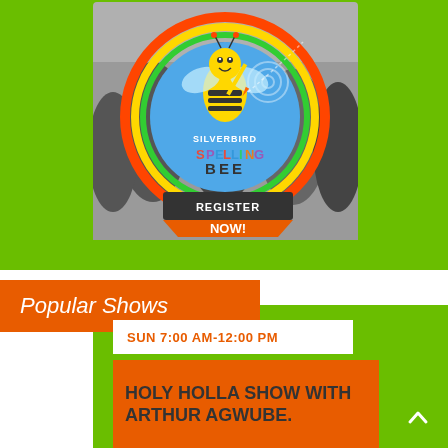[Figure (illustration): Silverbird Spelling Bee promotional banner with animated bee character holding a pen, circular logo with rainbow ring, and 'REGISTER NOW!' call-to-action button in orange. Background shows blurred people. Green border around the image.]
Popular Shows
SUN 7:00 AM-12:00 PM
HOLY HOLLA SHOW WITH ARTHUR AGWUBE.